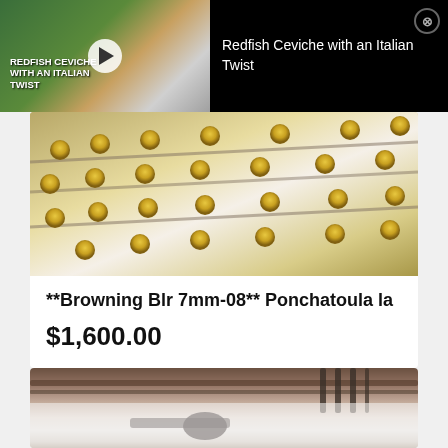[Figure (screenshot): Video overlay bar with thumbnail of Redfish Ceviche video on left and title on right against black background]
Redfish Ceviche with an Italian Twist
[Figure (photo): Close-up photo of decorative cake or fabric with gold medallion ornaments on white/cream background arranged in rows]
**Browning Blr 7mm-08** Ponchatoula la
$1,600.00
[Figure (photo): Photo of what appears to be a gun or machinery mounted on a wall/rack]